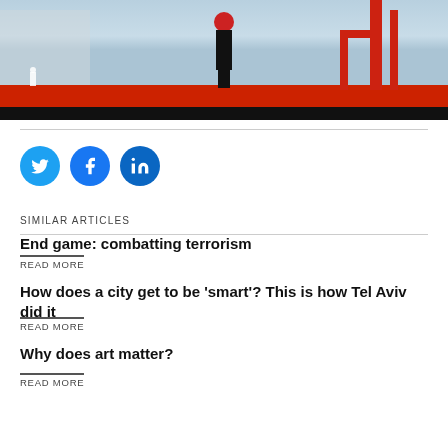[Figure (photo): Photo of a figure standing on a red carpet/floor against a modern architectural background with red structural elements and light blue walls]
Social sharing buttons: Twitter, Facebook, LinkedIn
SIMILAR ARTICLES
End game: combatting terrorism
READ MORE
How does a city get to be 'smart'? This is how Tel Aviv did it
READ MORE
Why does art matter?
READ MORE